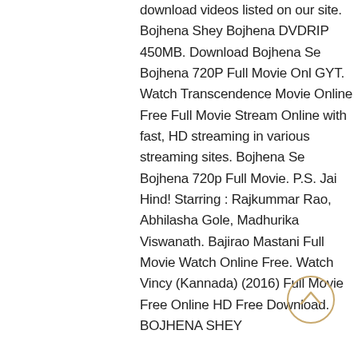download videos listed on our site. Bojhena Shey Bojhena DVDRIP 450MB. Download Bojhena Se Bojhena 720P Full Movie Onl GYT. Watch Transcendence Movie Online Free Full Movie Stream Online with fast, HD streaming in various streaming sites. Bojhena Se Bojhena 720p Full Movie. P.S. Jai Hind! Starring : Rajkummar Rao, Abhilasha Gole, Madhurika Viswanath. Bajirao Mastani Full Movie Watch Online Free. Watch Vincy (Kannada) (2016) Full Movie Free Online HD Free Download. BOJHENA SHEY
[Figure (other): A circular scroll-to-top button with an upward-pointing chevron arrow, outlined in light gold/tan color on white background.]